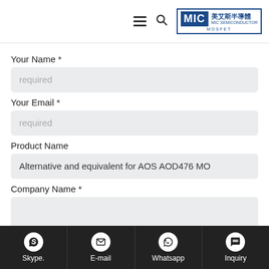MIC SEMICONDUCTOR (MIC MOSFET) - navigation bar with hamburger, search, and logo
Your Name *
required
Your Email *
required
Product Name
Alternative and equivalent for AOS AOD476 MO
Company Name *
Skype.   E-mail   Whatsapp   Inquiry